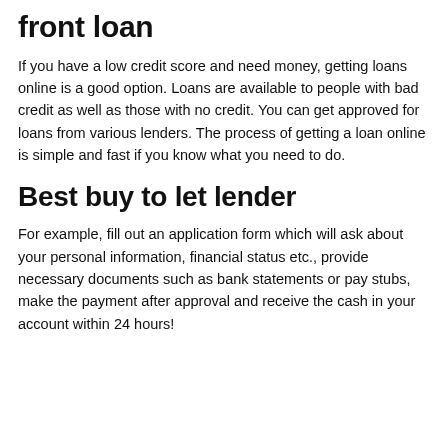front loan
If you have a low credit score and need money, getting loans online is a good option. Loans are available to people with bad credit as well as those with no credit. You can get approved for loans from various lenders. The process of getting a loan online is simple and fast if you know what you need to do.
Best buy to let lender
For example, fill out an application form which will ask about your personal information, financial status etc., provide necessary documents such as bank statements or pay stubs, make the payment after approval and receive the cash in your account within 24 hours!